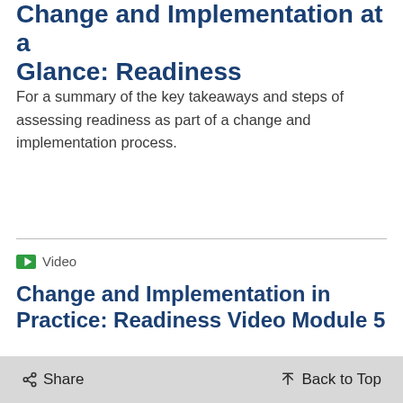Change and Implementation at a Glance: Readiness
For a summary of the key takeaways and steps of assessing readiness as part of a change and implementation process.
Video
Change and Implementation in Practice: Readiness Video Module 5
Reviews the final tasks of assessing agency readiness: analyzing results and determining next steps. This video explores how teams analyze assessment results, what conditions or cautions help determine next steps, and how agencies should reassess over time and
Share    Back to Top